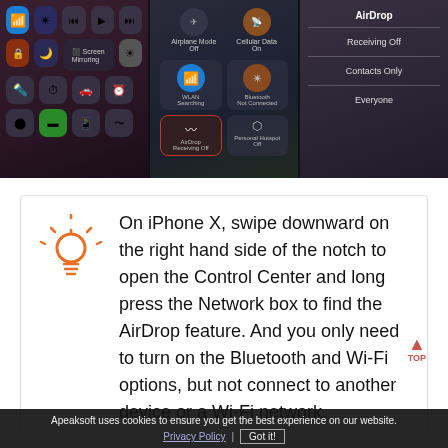[Figure (screenshot): Three iOS Control Center screenshots side by side showing AirDrop settings: left panel shows control center icons grid, middle panel shows network controls with AirDrop highlighted in red border showing 'Receiving Off', right panel shows AirDrop submenu with options: Receiving Off, Contacts Only, Everyone.]
On iPhone X, swipe downward on the right hand side of the notch to open the Control Center and long press the Network box to find the AirDrop feature. And you only need to turn on the Bluetooth and Wi-Fi options, but not connect to another device or a Wi-Fi network.
Apeaksoft uses cookies to ensure you get the best experience on our website. Privacy Policy  Got it!